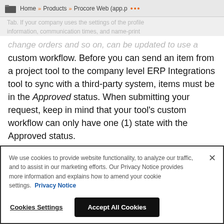Home » Products » Procore Web (app.p •••
change orders and so on, can be updated to use a custom workflow. Before you can send an item from a project tool to the company level ERP Integrations tool to sync with a third-party system, items must be in the Approved status. When submitting your request, keep in mind that your tool's custom workflow can only have one (1) state with the Approved status.
back to top
We use cookies to provide website functionality, to analyze our traffic, and to assist in our marketing efforts. Our Privacy Notice provides more information and explains how to amend your cookie settings. Privacy Notice
Cookies Settings   Accept All Cookies